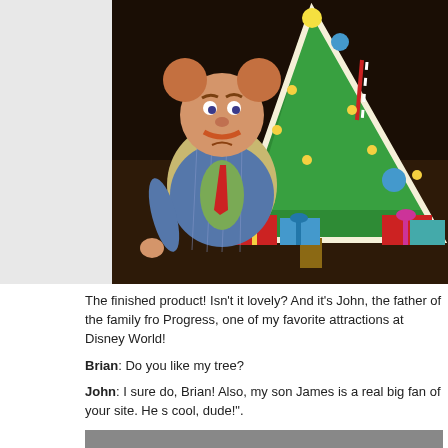[Figure (photo): A vinyl figurine of John (father character) in a blue pinstripe suit with mustache and Mickey Mouse ears, posed next to a colorful hand-drawn/colored Christmas tree decoration with gift boxes at the base.]
The finished product!  Isn't it lovely?  And it's John, the father of the family from Progress, one of my favorite attractions at Disney World!
Brian: Do you like my tree?
John: I sure do, Brian!  Also, my son James is a real big fan of your site.  He s cool, dude!".
Brian: Oh, that's great!  I'm honored.  I'd love to have him make a cameo in o
John: That tree would sure look good in our living room but we've already got Well, it's time I get back home.  Sarah's making pot roast.  And remember, "Th tomorrow shining at the end of every day"!